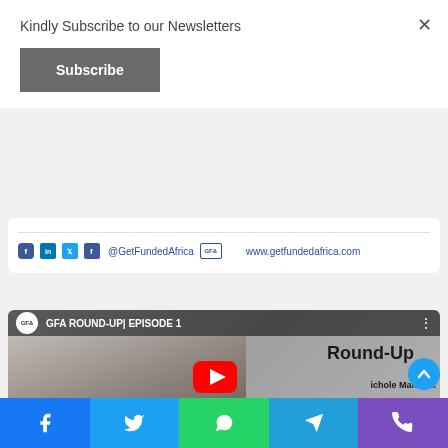Kindly Subscribe to our Newsletters
Subscribe
[Figure (screenshot): Social media icons row: Facebook, LinkedIn, Twitter, Facebook icons with @GetFundedAfrica handle and www.getfundedafrica.com website]
[Figure (screenshot): YouTube video thumbnail for GFA ROUND-UP | EPISODE 1 featuring a woman and Round-Up text with Episode 1 badge]
[Figure (infographic): Bottom social share bar with Facebook, Twitter, WhatsApp, Telegram, and Phone icons]